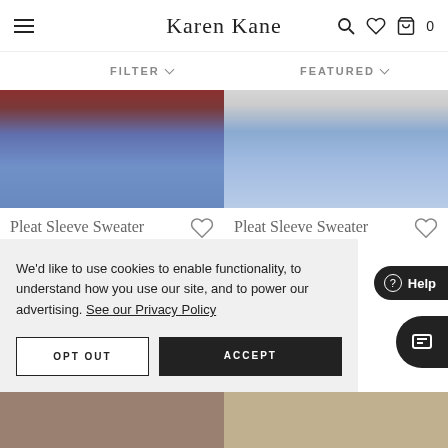Karen Kane
FILTER
FEATURED
[Figure (photo): Product photo of Pleat Sleeve Sweater - left variant, showing model wearing blue jeans against dark red background]
Pleat Sleeve Sweater
$119.00
[Figure (photo): Product photo of Pleat Sleeve Sweater - right variant, showing model wearing light blue jeans against grey background]
Pleat Sleeve Sweater
$119.00
We'd like to use cookies to enable functionality, to understand how you use our site, and to power our advertising. See our Privacy Policy
OPT OUT
ACCEPT